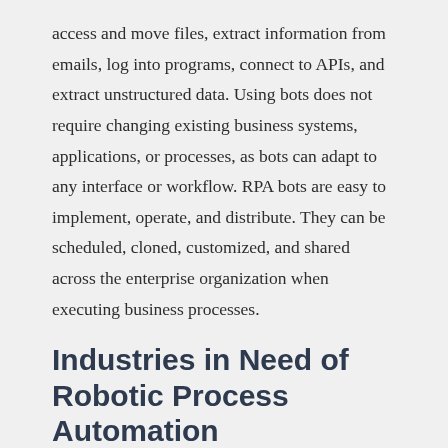access and move files, extract information from emails, log into programs, connect to APIs, and extract unstructured data. Using bots does not require changing existing business systems, applications, or processes, as bots can adapt to any interface or workflow. RPA bots are easy to implement, operate, and distribute. They can be scheduled, cloned, customized, and shared across the enterprise organization when executing business processes.
Industries in Need of Robotic Process Automation
When an RPA bot is programmed correctly, it will be able to produce a 100% accuracy rate and can work around the